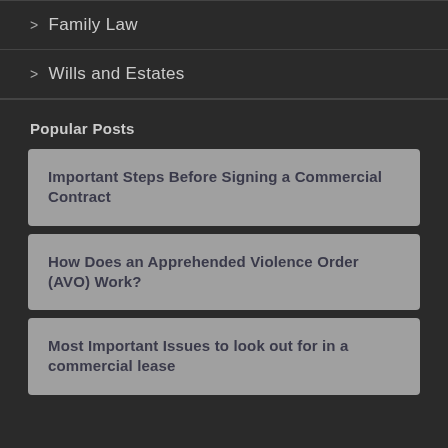> Family Law
> Wills and Estates
Popular Posts
Important Steps Before Signing a Commercial Contract
How Does an Apprehended Violence Order (AVO) Work?
Most Important Issues to look out for in a commercial lease